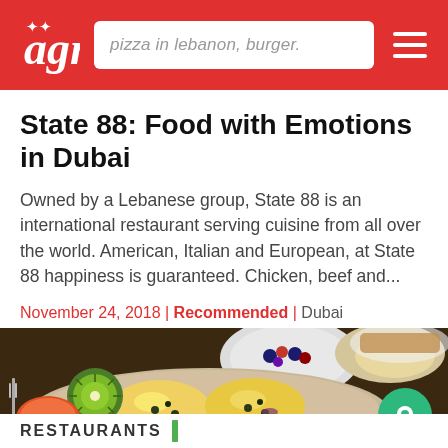pizza in lebanon, burger.
State 88: Food with Emotions in Dubai
Owned by a Lebanese group, State 88 is an international restaurant serving cuisine from all over the world. American, Italian and European, at State 88 happiness is guaranteed. Chicken, beef and...
November 24, 2018 | Recommended | Dubai
[Figure (photo): Overhead photo of a brunch or breakfast spread with eggs benedict topped with capers and hollandaise sauce, kiwi slices, strawberries, and a bowl of mixed berries in the background]
RESTAURANTS